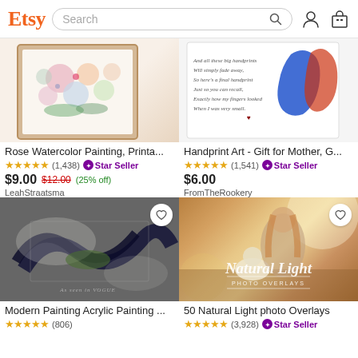Etsy — Search bar with user and cart icons
[Figure (photo): Rose watercolor painting product image — floral art in frame]
Rose Watercolor Painting, Printa...
★★★★★ (1,438) ⊙ Star Seller
$9.00 $12.00 (25% off)
LeahStraatsma
[Figure (photo): Handprint art product image — colorful child handprint with poem]
Handprint Art - Gift for Mother, G...
★★★★★ (1,541) ⊙ Star Seller
$6.00
FromTheRookery
[Figure (photo): Modern acrylic painting — abstract black and white ink art, as seen in Vogue label]
Modern Painting Acrylic Painting ...
★★★★★ (806)
[Figure (photo): Natural Light photo overlays product — woman with dog in golden field, text reads Natural Light PHOTO OVERLAYS]
50 Natural Light photo Overlays
★★★★★ (3,928) ⊙ Star Seller